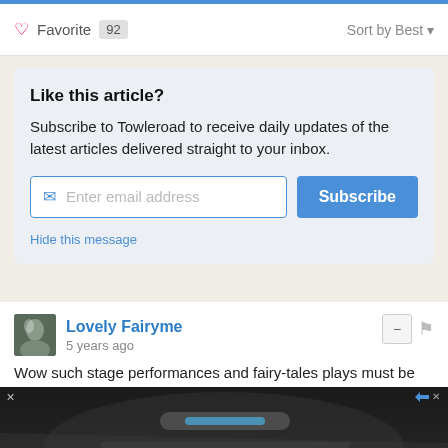♡ Favorite 92   Sort by Best ▼
Like this article?
Subscribe to Towleroad to receive daily updates of the latest articles delivered straight to your inbox.
Hide this message
Lovely Fairyme
5 years ago
Wow such stage performances and fairy-tales plays must be encouraged broadly because they remove all negativities from
[Figure (screenshot): Advertisement banner: 'Download Helbiz and ride' with dark background showing handlebars of an electric scooter]